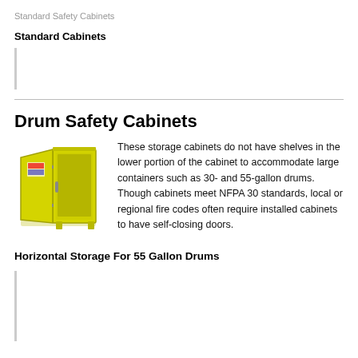Standard Safety Cabinets
Standard Cabinets
Drum Safety Cabinets
[Figure (photo): Yellow drum safety cabinet with open door showing interior storage space, no shelves in lower portion.]
These storage cabinets do not have shelves in the lower portion of the cabinet to accommodate large containers such as 30- and 55-gallon drums. Though cabinets meet NFPA 30 standards, local or regional fire codes often require installed cabinets to have self-closing doors.
Horizontal Storage For 55 Gallon Drums